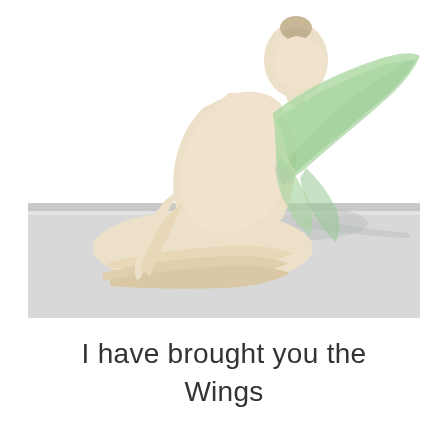[Figure (photo): A ceramic or clay sculpture of a seated female figure viewed from behind/side, with translucent light green wings, posed on a light grey stone or concrete surface against a white background.]
I have brought you the Wings